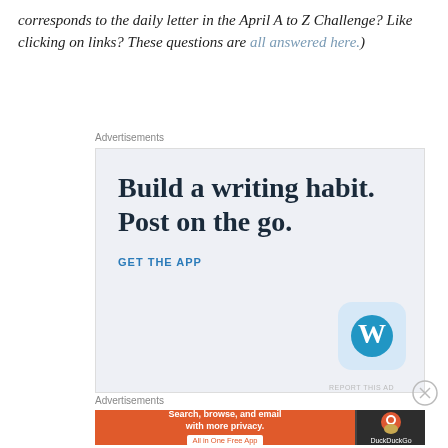corresponds to the daily letter in the April A to Z Challenge? Like clicking on links? These questions are all answered here.)
[Figure (screenshot): WordPress advertisement: 'Build a writing habit. Post on the go.' with 'GET THE APP' CTA and WordPress logo on light blue background]
[Figure (screenshot): DuckDuckGo advertisement: 'Search, browse, and email with more privacy. All in One Free App' on orange background with DuckDuckGo logo on dark background]